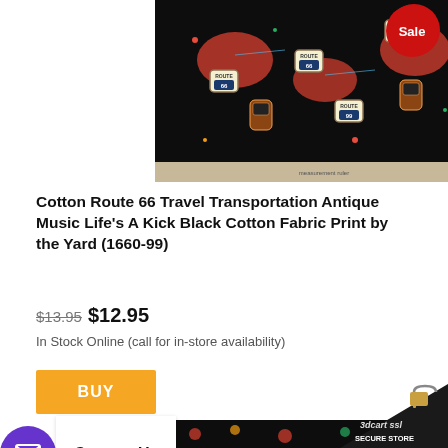[Figure (photo): Product photo of Route 66 Travel Transportation Antique Music black cotton fabric print showing vintage cars, Route 66 signs, jukeboxes on a black background]
[Figure (other): Red circular Sale badge in top-right corner]
Cotton Route 66 Travel Transportation Antique Music Life's A Kick Black Cotton Fabric Print by the Yard (1660-99)
$13.95  $12.95
In Stock Online (call for in-store availability)
BUY
Contact Us
[Figure (logo): 3dcart SSL Secure Store badge in bottom right corner]